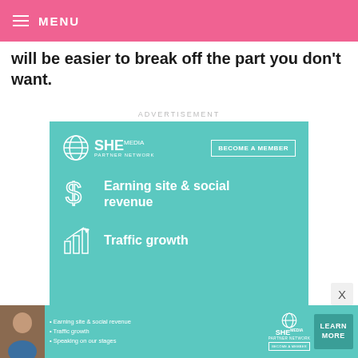MENU
will be easier to break off the part you don't want.
ADVERTISEMENT
[Figure (infographic): SHE Media Partner Network advertisement. Teal/turquoise background. Top row: SHE Media Partner Network logo on left, 'BECOME A MEMBER' button on right. Features listed: dollar sign icon with 'Earning site & social revenue', bar chart icon with 'Traffic growth'. Bottom: 'LEARN MORE' button.]
[Figure (infographic): Bottom banner ad for SHE Media Partner Network. Shows a person photo on left, bullet points: Earning site & social revenue, Traffic growth, Speaking on our stages. SHE Media Partner Network logo. LEARN MORE / BECOME A MEMBER button on right.]